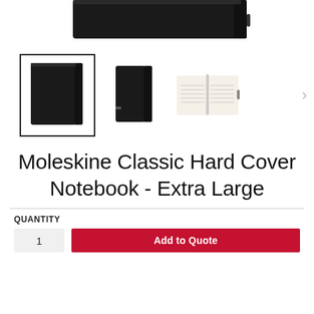[Figure (photo): Top portion of a black Moleskine notebook shown against white background — cropped at top of page]
[Figure (photo): Three thumbnail product images: (1) selected thumbnail with black border showing front cover of black Moleskine Extra Large notebook, (2) side/spine view of same notebook, (3) open notebook showing ruled pages. Navigation arrow (›) on right.]
Moleskine Classic Hard Cover Notebook - Extra Large
QUANTITY
Add to Quote